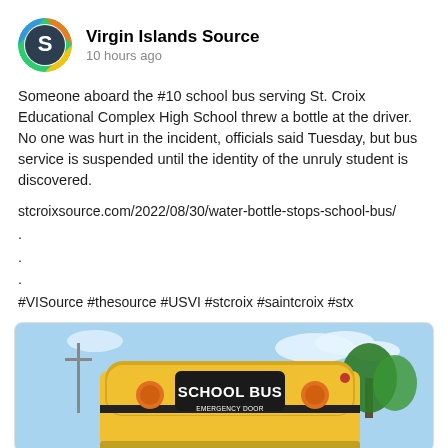[Figure (logo): Virgin Islands Source circular logo with letter S]
Virgin Islands Source
10 hours ago
Someone aboard the #10 school bus serving St. Croix Educational Complex High School threw a bottle at the driver. No one was hurt in the incident, officials said Tuesday, but bus service is suspended until the identity of the unruly student is discovered.
stcroixsource.com/2022/08/30/water-bottle-stops-school-bus/
.
.
.
#VISource #thesource #USVI #stcroix #saintcroix #stx
[Figure (photo): Front view of a yellow school bus with 'SCHOOL BUS' and 'EMERGENCY DOOR' text, with trees and blue sky in background]